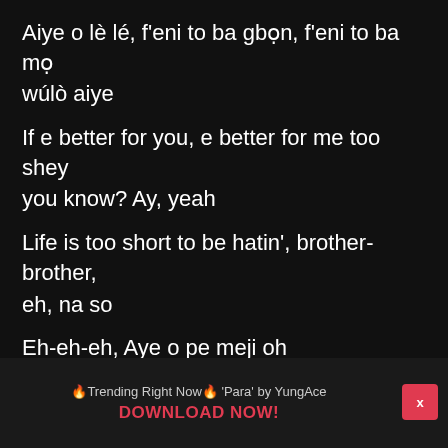Aiye o lè lé, f'eni to ba gbọn, f'eni to ba mọ wúlò aiye
If e better for you, e better for me too shey you know? Ay, yeah
Life is too short to be hatin', brother-brother, eh, na so
Eh-eh-eh, Aye o pe meji oh
Aiye kan lo wa (Aiye kan lo wa)
Je ki n r'ona lo k'iwo na le r'ona lo, oh eh
Ore mi ma pe padi e l'ole oh jare
🔥Trending Right Now🔥 'Para' by YungAce
DOWNLOAD NOW!